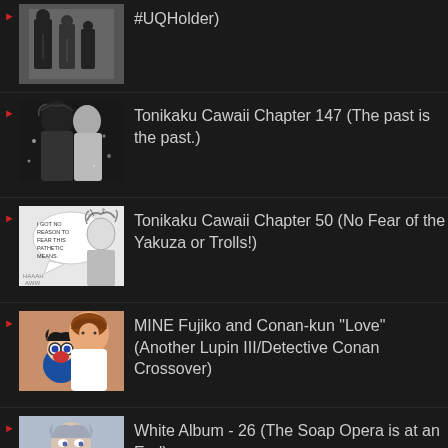#UQHolder)
Tonikaku Cawaii Chapter 147 (The past is the past.)
Tonikaku Cawaii Chapter 50 (No Fear of the Yakuza or Trolls!)
MINE Fujiko and Conan-kun "Love" (Another Lupin III/Detective Conan Crossover)
White Album - 26 (The Soap Opera is at an End)